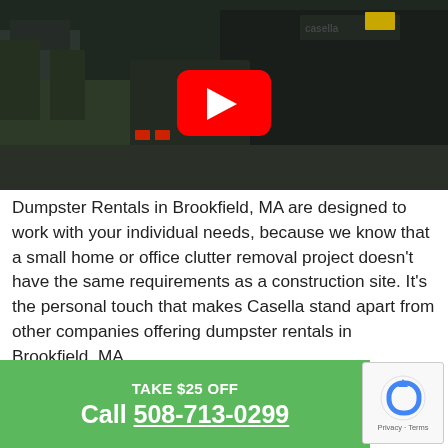[Figure (screenshot): YouTube video thumbnail showing a dumpster truck on a residential street, with a red YouTube play button overlay in the center]
Dumpster Rentals in Brookfield, MA are designed to work with your individual needs, because we know that a small home or office clutter removal project doesn't have the same requirements as a construction site. It's the personal touch that makes Casella stand apart from other companies offering dumpster rentals in Brookfield, MA.
Ready to get started? Simply fill out...
TAKE $25 OFF
Call 508-713-0299